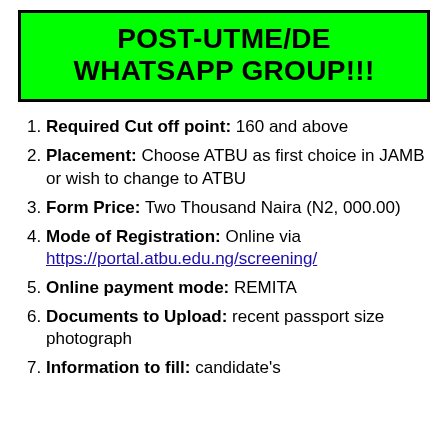POST-UTME/DE WHATSAPP GROUP!!!
Required Cut off point: 160 and above
Placement: Choose ATBU as first choice in JAMB or wish to change to ATBU
Form Price: Two Thousand Naira (N2, 000.00)
Mode of Registration: Online via https://portal.atbu.edu.ng/screening/
Online payment mode: REMITA
Documents to Upload: recent passport size photograph
Information to fill: candidate's